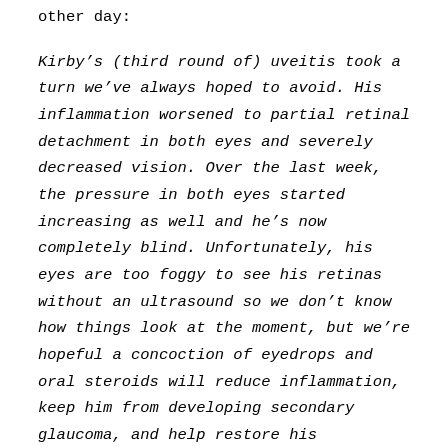other day:
Kirby’s (third round of) uveitis took a turn we’ve always hoped to avoid. His inflammation worsened to partial retinal detachment in both eyes and severely decreased vision. Over the last week, the pressure in both eyes started increasing as well and he’s now completely blind. Unfortunately, his eyes are too foggy to see his retinas without an ultrasound so we don’t know how things look at the moment, but we’re hopeful a concoction of eyedrops and oral steroids will reduce inflammation, keep him from developing secondary glaucoma, and help restore his